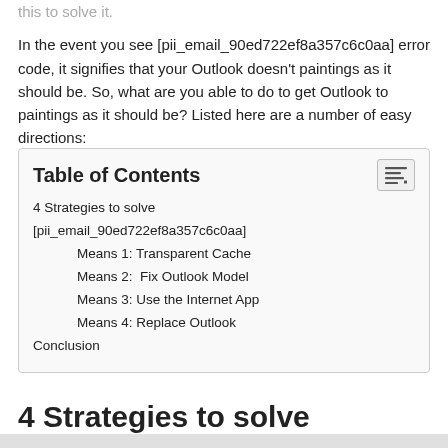this to solve it.

In the event you see [pii_email_90ed722ef8a357c6c0aa] error code, it signifies that your Outlook doesn't paintings as it should be. So, what are you able to do to get Outlook to paintings as it should be? Listed here are a number of easy directions:
| Table of Contents |
| 4 Strategies to solve
[pii_email_90ed722ef8a357c6c0aa] |
| Means 1: Transparent Cache |
| Means 2:  Fix Outlook Model |
| Means 3: Use the Internet App |
| Means 4: Replace Outlook |
| Conclusion |
4 Strategies to solve